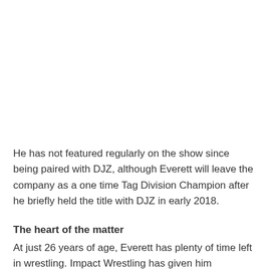He has not featured regularly on the show since being paired with DJZ, although Everett will leave the company as a one time Tag Division Champion after he briefly held the title with DJZ in early 2018.
The heart of the matter
At just 26 years of age, Everett has plenty of time left in wrestling. Impact Wrestling has given him exposure at such an early point in his career and it has been evident how much